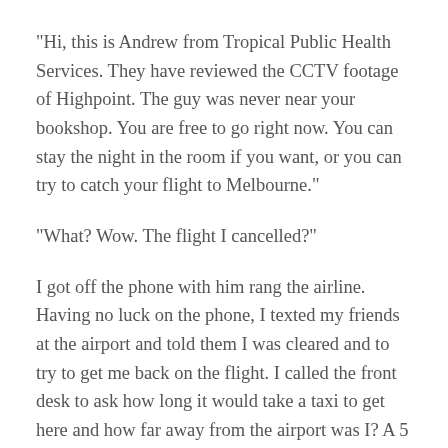“Hi, this is Andrew from Tropical Public Health Services. They have reviewed the CCTV footage of Highpoint. The guy was never near your bookshop. You are free to go right now. You can stay the night in the room if you want, or you can try to catch your flight to Melbourne.”
“What? Wow. The flight I cancelled?”
I got off the phone with him rang the airline. Having no luck on the phone, I texted my friends at the airport and told them I was cleared and to try to get me back on the flight. I called the front desk to ask how long it would take a taxi to get here and how far away from the airport was I? A 5 mins wait for a cab and a 10 min ride to the airport. This just might work.
In 12 mins, my friends got me back on the flight. Andrew at the QLD Government cleared me to the hotel police, and I